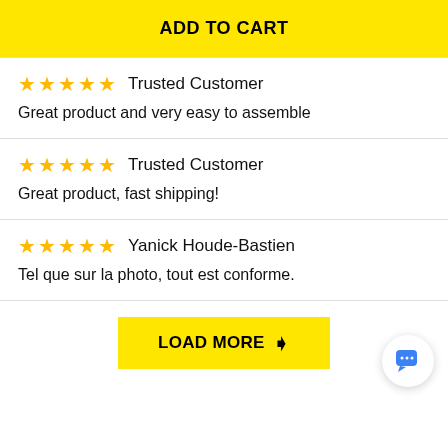ADD TO CART
★★★★★  Trusted Customer
Great product and very easy to assemble
★★★★★  Trusted Customer
Great product, fast shipping!
★★★★★  Yanick Houde-Bastien
Tel que sur la photo, tout est conforme.
LOAD MORE ›